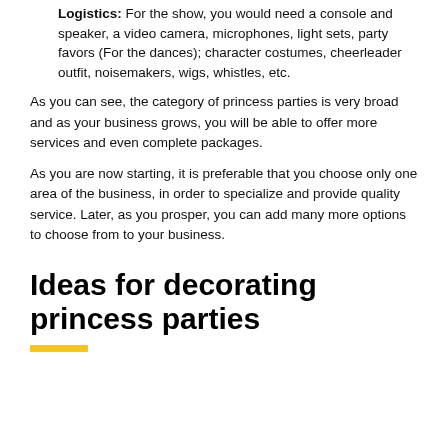Logistics: For the show, you would need a console and speaker, a video camera, microphones, light sets, party favors (For the dances); character costumes, cheerleader outfit, noisemakers, wigs, whistles, etc.
As you can see, the category of princess parties is very broad and as your business grows, you will be able to offer more services and even complete packages.
As you are now starting, it is preferable that you choose only one area of the business, in order to specialize and provide quality service. Later, as you prosper, you can add many more options to choose from to your business.
Ideas for decorating princess parties